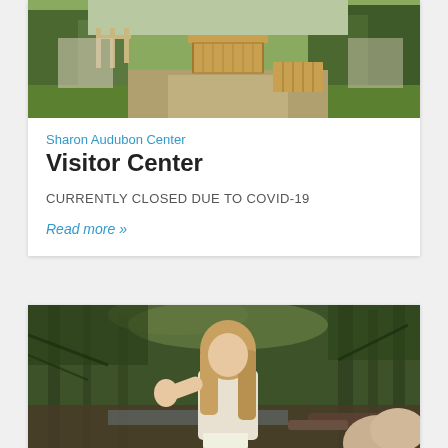[Figure (photo): Outdoor photo of Sharon Audubon Center showing a wooden pathway/ramp structure, greenery, and a gravel path in daylight.]
Sharon Audubon Center
Visitor Center
CURRENTLY CLOSED DUE TO COVID-19
Read more »
[Figure (photo): Outdoor photo of a woman with long hair gesturing with her hand while speaking to a group in a wooded area near a stream.]